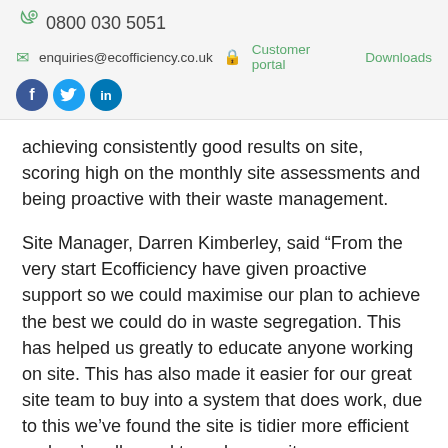0800 030 5051 | enquiries@ecofficiency.co.uk | Customer portal | Downloads | Facebook | Twitter | LinkedIn
achieving consistently good results on site, scoring high on the monthly site assessments and being proactive with their waste management.
Site Manager, Darren Kimberley, said “From the very start Ecofficiency have given proactive support so we could maximise our plan to achieve the best we could do in waste segregation. This has helped us greatly to educate anyone working on site. This has also made it easier for our great site team to buy into a system that does work, due to this we’ve found the site is tidier more efficient and we’re all proud to make our site as green as we can. Supplying everything from signage and hazard bags to site toolbox talks and advise is never too much trouble for Ecofficiency, long may it continue”.